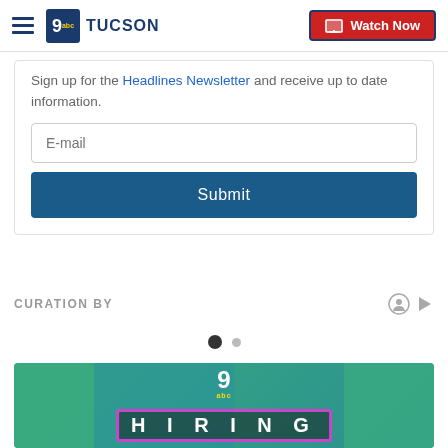KGUN 9 Tucson | Watch Now
Sign up for the Headlines Newsletter and receive up to date information.
E-mail
Submit
CURATION BY
[Figure (screenshot): Pagination dots: one filled black dot and one smaller grey dot]
[Figure (screenshot): Thumbnail image with teal background showing animated characters and HIRING text in a purple-bordered box with KGUN 9 logo overlay]